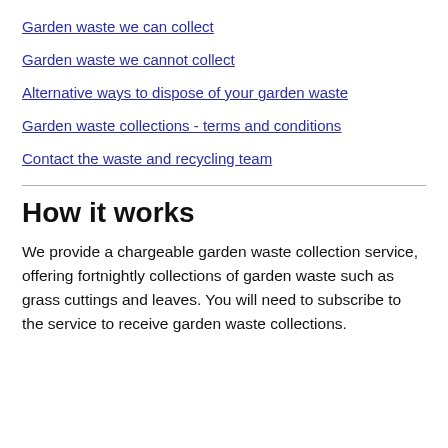Garden waste we can collect
Garden waste we cannot collect
Alternative ways to dispose of your garden waste
Garden waste collections - terms and conditions
Contact the waste and recycling team
How it works
We provide a chargeable garden waste collection service, offering fortnightly collections of garden waste such as grass cuttings and leaves. You will need to subscribe to the service to receive garden waste collections.